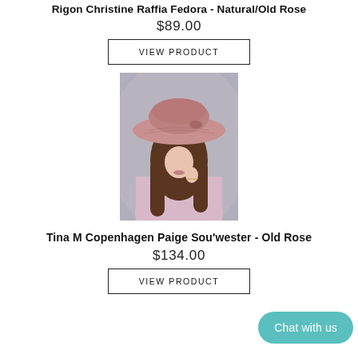Rigon Christine Raffia Fedora - Natural/Old Rose
$89.00
VIEW PRODUCT
[Figure (photo): Woman wearing a pink/old rose wide-brim raffia sun hat, looking down, with long wavy hair, wearing a light purple outfit.]
Tina M Copenhagen Paige Sou'wester - Old Rose
$134.00
VIEW PRODUCT
Chat with us